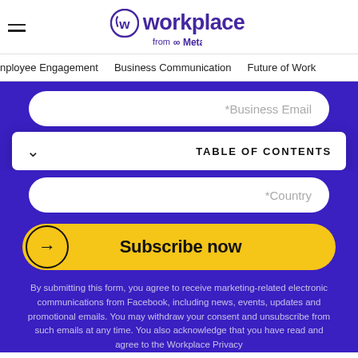[Figure (logo): Workplace from Meta logo with purple W icon and wordmark]
Employee Engagement   Business Communication   Future of Work
*Business Email
TABLE OF CONTENTS
*Country
Subscribe now
By submitting this form, you agree to receive marketing-related electronic communications from Facebook, including news, events, updates and promotional emails. You may withdraw your consent and unsubscribe from such emails at any time. You also acknowledge that you have read and agree to the Workplace Privacy